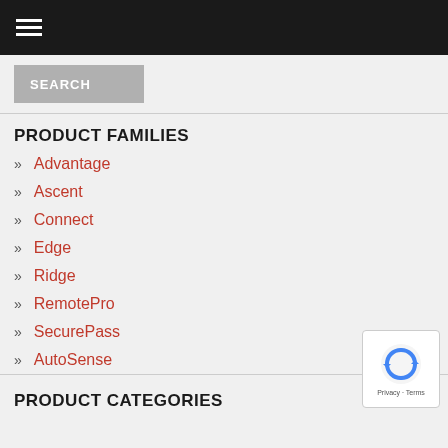Navigation menu bar
SEARCH
PRODUCT FAMILIES
» Advantage
» Ascent
» Connect
» Edge
» Ridge
» RemotePro
» SecurePass
» AutoSense
PRODUCT CATEGORIES
[Figure (logo): reCAPTCHA badge with recycle-arrow logo and Privacy - Terms text]